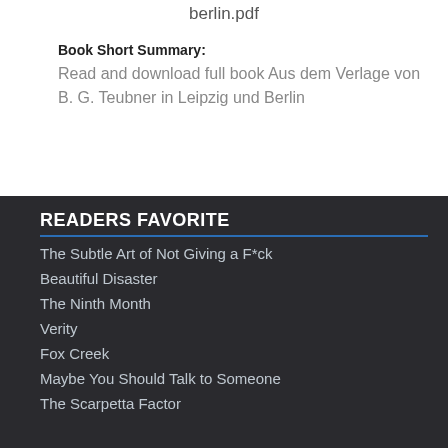berlin.pdf
Book Short Summary:
Read and download full book Aus dem Verlage von B. G. Teubner in Leipzig und Berlin
READERS FAVORITE
The Subtle Art of Not Giving a F*ck
Beautiful Disaster
The Ninth Month
Verity
Fox Creek
Maybe You Should Talk to Someone
The Scarpetta Factor